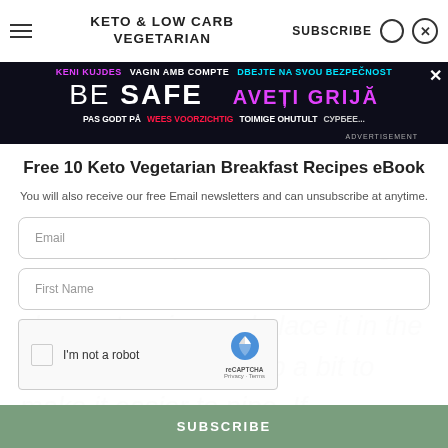KETO & LOW CARB VEGETARIAN   SUBSCRIBE
[Figure (screenshot): Safety multilingual advertisement banner with text in multiple languages: KENI KUJDES, VAGIN AMB COMPTE, DBEJTE NA SVOU BEZPEČNOST, BE SAFE, AVETI GRIJA, PAS GODT PÅ, WEES VOORZICHTIG, TOIMIGE OHUTULT]
Free 10 Keto Vegetarian Breakfast Recipes eBook
You will also receive our free Email newsletters and can unsubscribe at anytime.
Email
First Name
I'm not a robot
Whilst the cupcakes are baking, make the blackberry cream cheese topping and place it in the fridge so it can firm up a bit to make it easier to pipe. If
SUBSCRIBE